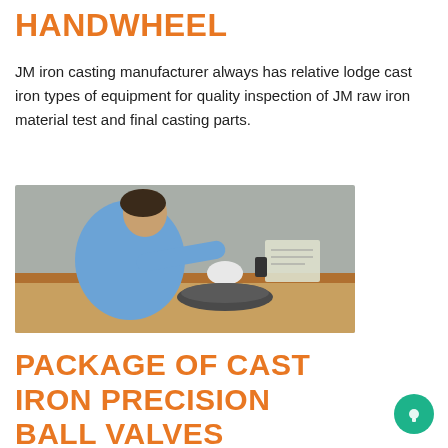HANDWHEEL
JM iron casting manufacturer always has relative lodge cast iron types of equipment for quality inspection of JM raw iron material test and final casting parts.
[Figure (photo): A female worker in blue clothing and white gloves inspecting a cast iron part at a workbench with documents in the background]
PACKAGE OF CAST IRON PRECISION BALL VALVES MANUAL VALVES